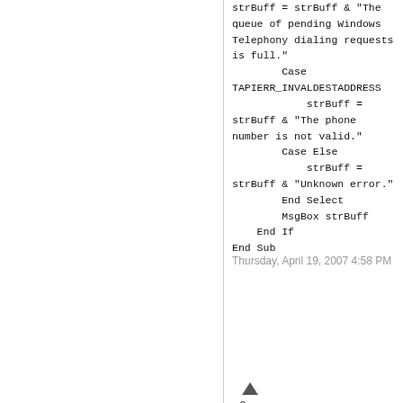strBuff = strBuff & "The queue of pending Windows Telephony dialing requests is full."
        Case TAPIERR_INVALDESTADDRESS
            strBuff = strBuff & "The phone number is not valid."
        Case Else
            strBuff = strBuff & "Unknown error."
        End Select
        MsgBox strBuff
    End If
End Sub
Thursday, April 19, 2007 4:58 PM
[Figure (other): Blue checkbox with white checkmark, an upward triangle vote button, and vote count of 0]